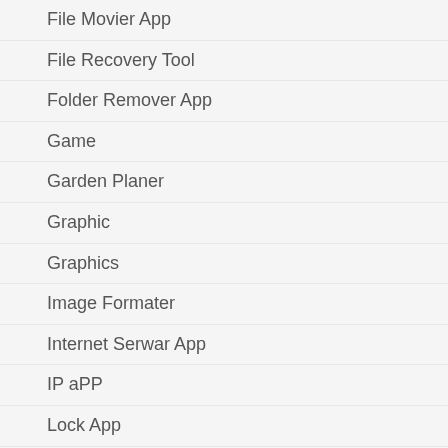File Movier App
File Recovery Tool
Folder Remover App
Game
Garden Planer
Graphic
Graphics
Image Formater
Internet Serwar App
IP aPP
Lock App